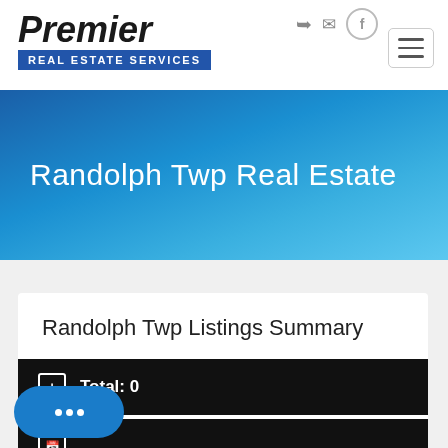[Figure (logo): Premier Real Estate Services logo with italic bold text and blue banner]
Randolph Twp Real Estate
Randolph Twp Listings Summary
Total: 0